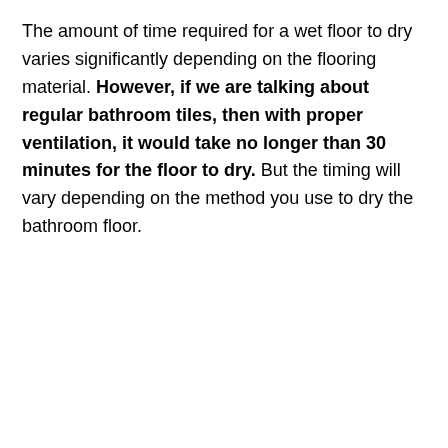The amount of time required for a wet floor to dry varies significantly depending on the flooring material. However, if we are talking about regular bathroom tiles, then with proper ventilation, it would take no longer than 30 minutes for the floor to dry. But the timing will vary depending on the method you use to dry the bathroom floor.